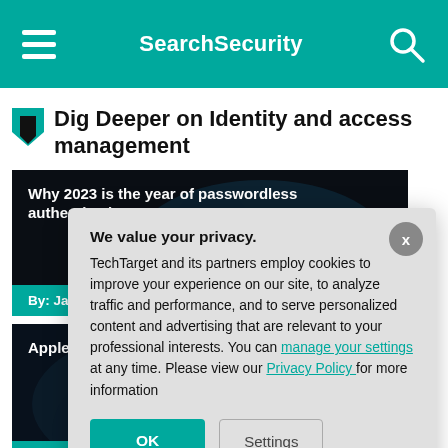SearchSecurity
Dig Deeper on Identity and access management
[Figure (screenshot): Article card: 'Why 2023 is the year of passwordless authentication' by Jack Poller, dark background image]
[Figure (screenshot): Article card: 'Apple, Microsoft passwordless...' by Kyle Johnson, dark background image]
We value your privacy. TechTarget and its partners employ cookies to improve your experience on our site, to analyze traffic and performance, and to serve personalized content and advertising that are relevant to your professional interests. You can manage your settings at any time. Please view our Privacy Policy for more information